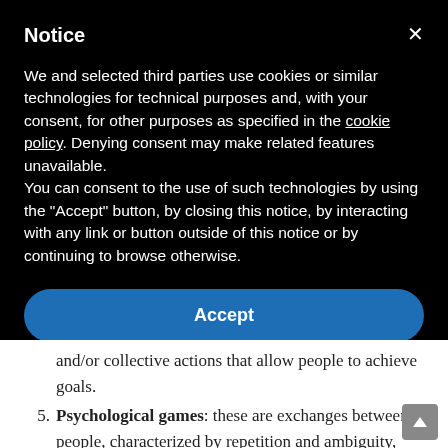Notice
We and selected third parties use cookies or similar technologies for technical purposes and, with your consent, for other purposes as specified in the cookie policy. Denying consent may make related features unavailable.
You can consent to the use of such technologies by using the "Accept" button, by closing this notice, by interacting with any link or button outside of this notice or by continuing to browse otherwise.
Accept
Learn more and customize
and/or collective actions that allow people to achieve goals.
5. Psychological games: these are exchanges between people, characterized by repetition and ambiguity,